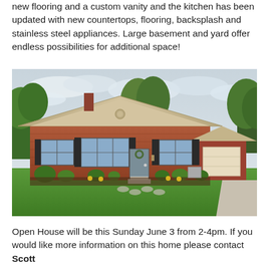new flooring and a custom vanity and the kitchen has been updated with new countertops, flooring, backsplash and stainless steel appliances. Large basement and yard offer endless possibilities for additional space!
[Figure (photo): Exterior front view of a single-story brick ranch house with beige siding gable, attached garage, manicured lawn, flower beds, and cloudy sky background.]
Open House will be this Sunday June 3 from 2-4pm. If you would like more information on this home please contact Scott